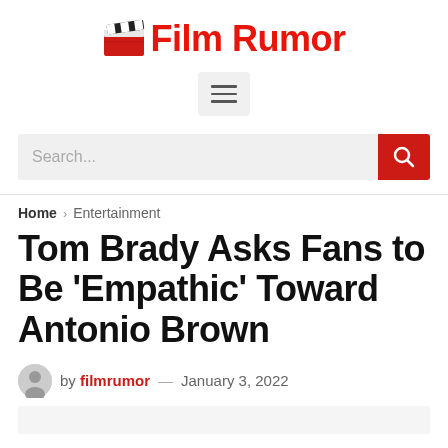Film Rumor
Tom Brady Asks Fans to Be ‘Empathic’ Toward Antonio Brown
by filmrumor — January 3, 2022